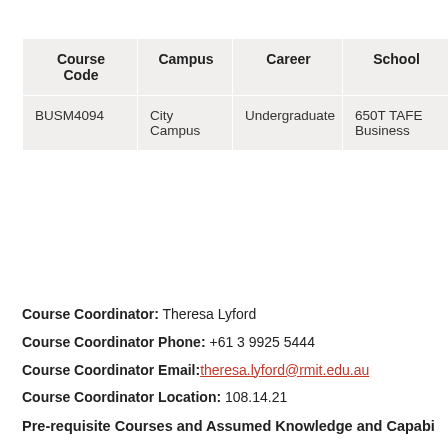| Course Code | Campus | Career | School |
| --- | --- | --- | --- |
| BUSM4094 | City Campus | Undergraduate | 650T TAFE Business |
Course Coordinator: Theresa Lyford
Course Coordinator Phone: +61 3 9925 5444
Course Coordinator Email: theresa.lyford@rmit.edu.au
Course Coordinator Location: 108.14.21
Pre-requisite Courses and Assumed Knowledge and Capabi…